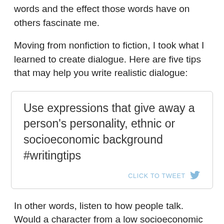words and the effect those words have on others fascinate me.
Moving from nonfiction to fiction, I took what I learned to create dialogue. Here are five tips that may help you write realistic dialogue:
[Figure (infographic): Tweet quote box with text: Use expressions that give away a person’s personality, ethnic or socioeconomic background #writingtips. Followed by 'CLICK TO TWEET' with a Twitter bird icon.]
In other words, listen to how people talk. Would a character from a low socioeconomic